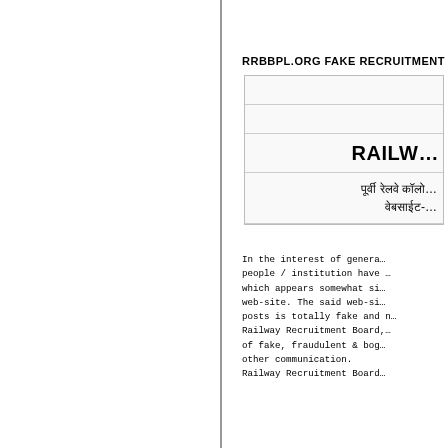RRBBPL.ORG FAKE RECRUITMENT BH...
[Figure (screenshot): Screenshot of a Railway Recruitment Board website showing text 'RAILWAY' in bold and Hindi text 'पूर्वी रेलवे कॉलो... वेबसाईट-']
In the interest of genera... people / institution have ... which appears somewhat si... web-site. The said web-si... posts is totally fake and n... Railway Recruitment Board, ... of fake, fraudulent & bog... other communication.